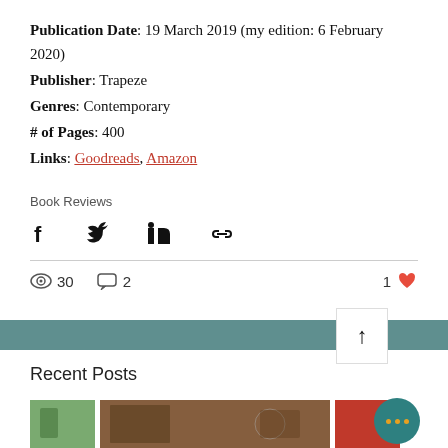Publication Date: 19 March 2019 (my edition: 6 February 2020)
Publisher: Trapeze
Genres: Contemporary
# of Pages: 400
Links: Goodreads, Amazon
Book Reviews
[Figure (infographic): Social share icons: Facebook, Twitter, LinkedIn, link/chain icon]
30 views  2 comments  1 like
Recent Posts
[Figure (photo): Three thumbnail images of recent posts, with a teal circle with three orange dots overlay and a scroll-to-top button]